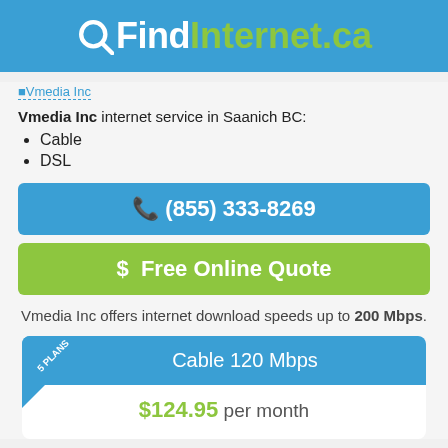QFindInternet.ca
[Figure (logo): Vmedia Inc logo link]
Vmedia Inc internet service in Saanich BC:
Cable
DSL
(855) 333-8269
$ Free Online Quote
Vmedia Inc offers internet download speeds up to 200 Mbps.
Cable 120 Mbps
$124.95 per month